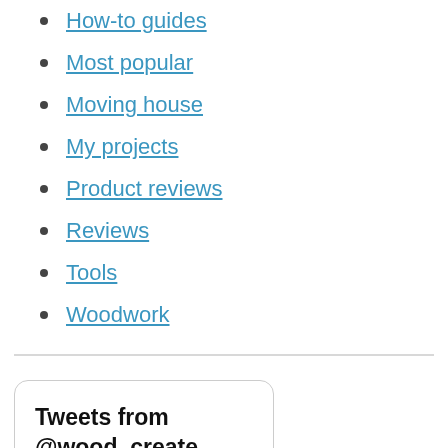How-to guides
Most popular
Moving house
My projects
Product reviews
Reviews
Tools
Woodwork
Tweets from @wood_create